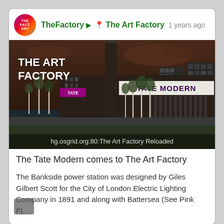TheFactory ▶ 📍 The Art Factory  1 years ago
[Figure (photo): Rendered 3D virtual world image of The Art Factory showing a Tate Modern-style building with a tall chimney stack, illuminated 'TATE MODERN' signage, trees lining the approach, and other buildings in the background. Text overlay reads 'THE ART FACTORY'. Caption at bottom: hg.osgrid.org:80:The Art Factory Reloaded]
The Tate Modern comes to The Art Factory
The Bankside power station was designed by Giles Gilbert Scott for the City of London Electric Lighting Company in 1891 and along with Battersea (See Pink Fl...